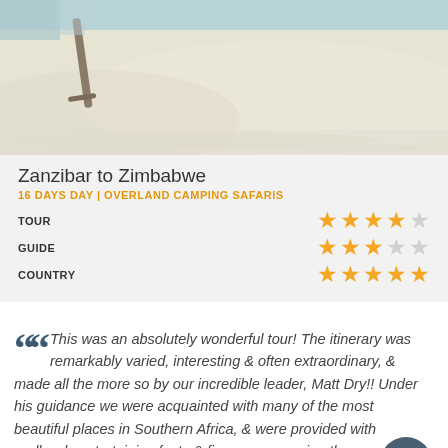[Figure (photo): Beach scene with white sand and a weathered wooden post/driftwood, with hints of blue water in the background]
Zanzibar to Zimbabwe
16 DAYS DAY | OVERLAND CAMPING SAFARIS
| Category | Rating |
| --- | --- |
| TOUR | 4 out of 5 stars |
| GUIDE | 3 out of 5 stars |
| COUNTRY | 5 out of 5 stars |
This was an absolutely wonderful tour! The itinerary was remarkably varied, interesting & often extraordinary, & made all the more so by our incredible leader, Matt Dry!! Under his guidance we were acquainted with many of the most beautiful places in Southern Africa, & were provided with endlessly entertaining facts & figures concerning the